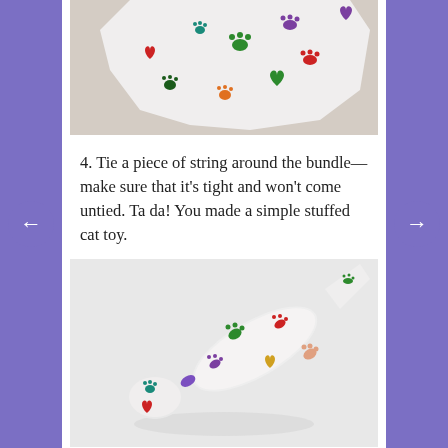[Figure (photo): Photo of patterned fabric with colorful paw prints and hearts on a beige background, partially folded/gathered]
4. Tie a piece of string around the bundle—make sure that it's tight and won't come untied. Ta da! You made a simple stuffed cat toy.
[Figure (photo): Photo of completed stuffed cat toy made from paw-print patterned fabric tied with a purple string, on a white background]